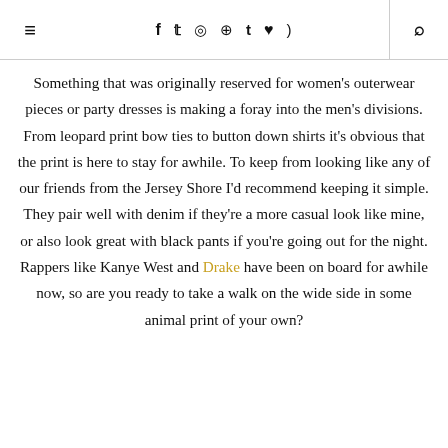≡  f  t  ✦  ♥  ⌂
Something that was originally reserved for women's outerwear pieces or party dresses is making a foray into the men's divisions. From leopard print bow ties to button down shirts it's obvious that the print is here to stay for awhile. To keep from looking like any of our friends from the Jersey Shore I'd recommend keeping it simple. They pair well with denim if they're a more casual look like mine, or also look great with black pants if you're going out for the night. Rappers like Kanye West and Drake have been on board for awhile now, so are you ready to take a walk on the wide side in some animal print of your own?